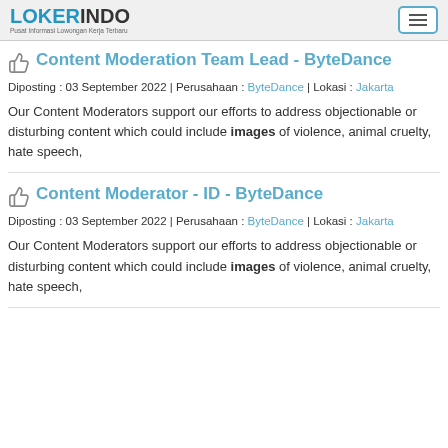LOKERINDO - Pusat Informasi Lowongan Kerja Terbaru
Content Moderation Team Lead - ByteDance
Diposting : 03 September 2022 | Perusahaan : ByteDance | Lokasi : Jakarta
Our Content Moderators support our efforts to address objectionable or disturbing content which could include images of violence, animal cruelty, hate speech,
Content Moderator - ID - ByteDance
Diposting : 03 September 2022 | Perusahaan : ByteDance | Lokasi : Jakarta
Our Content Moderators support our efforts to address objectionable or disturbing content which could include images of violence, animal cruelty, hate speech,